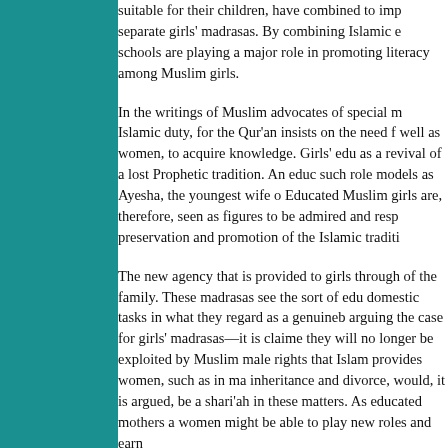suitable for their children, have combined to imp separate girls' madrasas. By combining Islamic e schools are playing a major role in promoting literacy among Muslim girls.
In the writings of Muslim advocates of special m Islamic duty, for the Qur'an insists on the need f well as women, to acquire knowledge. Girls' edu as a revival of a lost Prophetic tradition. An educ such role models as Ayesha, the youngest wife o Educated Muslim girls are, therefore, seen as figures to be admired and resp preservation and promotion of the Islamic traditi
The new agency that is provided to girls through of the family. These madrasas see the sort of edu domestic tasks in what they regard as a genuineb arguing the case for girls' madrasas—it is claime they will no longer be exploited by Muslim male rights that Islam provides women, such as in ma inheritance and divorce, would, it is argued, be a shari'ah in these matters. As educated mothers a women might be able to play new roles and earn